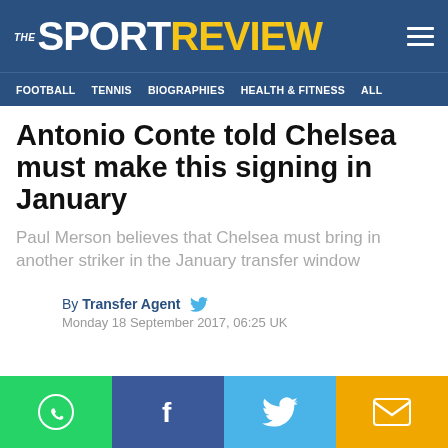THE SPORT REVIEW
FOOTBALL  TENNIS  BIOGRAPHIES  HEALTH & FITNESS  ALL
Antonio Conte told Chelsea must make this signing in January
Paul Merson believes that Chelsea must bring in another striker in the January transfer window
By Transfer Agent  Monday 18 September 2017, 06:25 UK